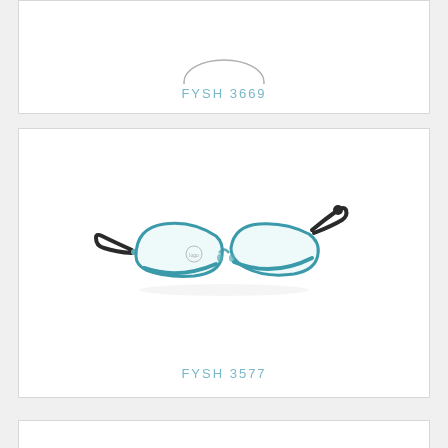[Figure (photo): Partial view of eyeglasses frame at top of page, product FYSH 3669]
FYSH 3669
[Figure (photo): Teal/turquoise cat-eye style eyeglasses with dark temples, product FYSH 3577]
FYSH 3577
[Figure (photo): Bottom partial card, beginning of another eyeglasses product]